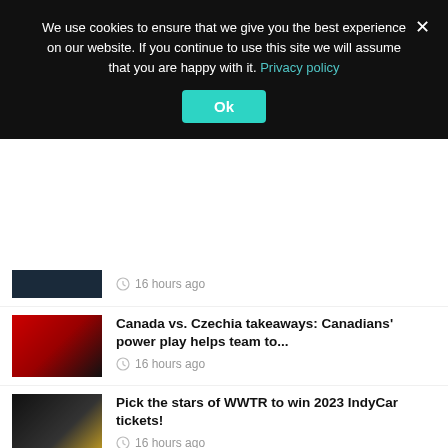We use cookies to ensure that we give you the best experience on our website. If you continue to use this site we will assume that you are happy with it. Privacy policy
Ok
16 hours ago
Canada vs. Czechia takeaways: Canadians' power play helps team to...
16 hours ago
Pick the stars of WWTR to win 2023 IndyCar tickets!
16 hours ago
Neuville's afternoon attack eams WRC Ypres Rally Belgium leg one...
16 hours ago